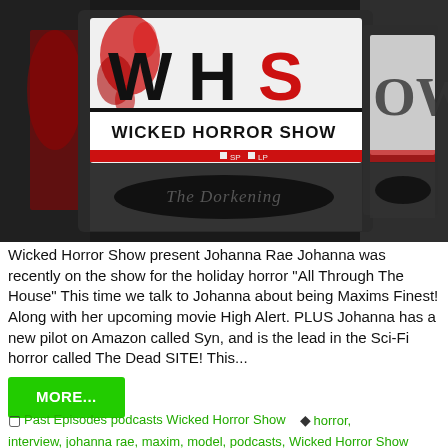[Figure (photo): Close-up photo of a VHS tape with a label reading 'WHS Wicked Horror Show' with red splatter design, and 'The Dorkening' embossed on the cassette body. Multiple VHS tapes visible in background.]
Wicked Horror Show present Johanna Rae Johanna was recently on the show for the holiday horror "All Through The House" This time we talk to Johanna about being Maxims Finest! Along with her upcoming movie High Alert. PLUS Johanna has a new pilot on Amazon called Syn, and is the lead in the Sci-Fi horror called The Dead SITE! This...
MORE...
Past Episodes podcasts Wicked Horror Show   horror, interview, johanna rae, maxim, model, podcasts, Wicked Horror Show